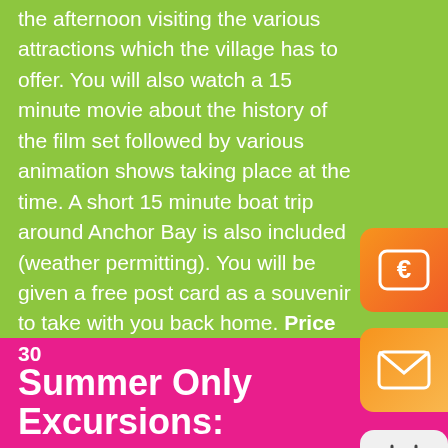the afternoon visiting the various attractions which the village has to offer. You will also watch a 15 minute movie about the history of the film set followed by various animation shows taking place at the time. A short 15 minute boat trip around Anchor Bay is also included (weather permitting). You will be given a free post card as a souvenir to take with you back home. Price 30
[Figure (illustration): Orange gradient rounded rectangle button with Euro currency symbol icon]
[Figure (illustration): Orange/yellow gradient rounded rectangle button with envelope/mail icon]
[Figure (illustration): Light grey rounded rectangle button with calendar checkmark icon]
Summer Only Excursions: